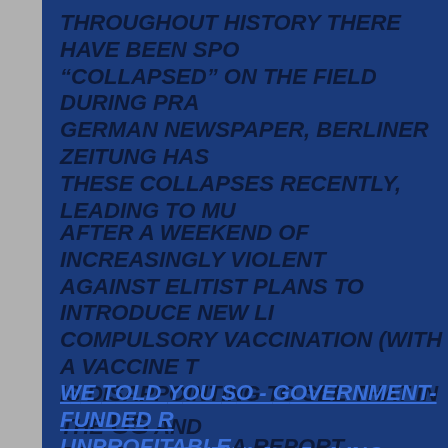Throughout history there have been spo... “collapsed” on the field during pra... German newspaper, Berliner Zeitung has... these collapses recently, leading to muc...
After a weekend of increasingly violent... against elitist plans to introduce new li... compulsory vaccination (with a vaccine t... is disappointing to see that in the US and... panic ... Continue reading >>>
We Told You So - Government-funded R... Unprofitable A report commissioned by t...